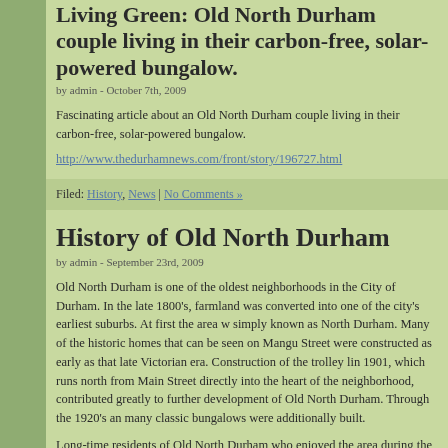Living Green: Old North Durham couple living in their carbon-free, solar-powered bungalow.
by admin - October 7th, 2009
Fascinating article about an Old North Durham couple living in their carbon-free, solar-powered bungalow.
http://www.thedurhamnews.com/front/story/196727.html
Filed: History, News | No Comments »
History of Old North Durham
by admin - September 23rd, 2009
Old North Durham is one of the oldest neighborhoods in the City of Durham. In the late 1800's, farmland was converted into one of the city's earliest suburbs. At first the area was simply known as North Durham. Many of the historic homes that can be seen on Mangum Street were constructed as early as that late Victorian era. Construction of the trolley line in 1901, which runs north from Main Street directly into the heart of the neighborhood, contributed greatly to further development of Old North Durham. Through the 1920's and many classic bungalows were additionally built.
Long-time residents of Old North Durham who enjoyed the area during the 1930's can re strories of large local families, and many children playing on dusty dirt roads. In the even kerosene smudge pots, known as flambeaus, would be lit along the sides of the main ro